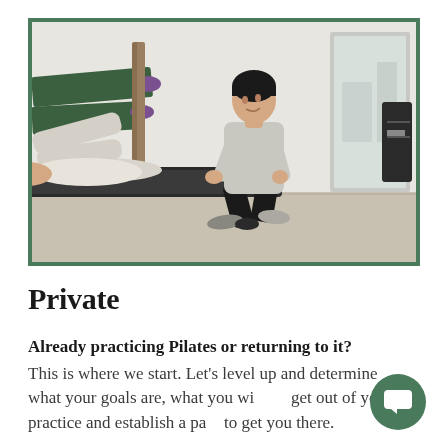[Figure (photo): A Pilates instructor crouching beside a client lying on a reformer machine in a studio. The instructor is wearing a grey top and black pants, observing the client who is using green leg straps on the reformer. Studio equipment and a mirror are visible in the background.]
Private
Already practicing Pilates or returning to it? This is where we start. Let's level up and determine what your goals are, what you wish to get out of your practice and establish a path to get you there.